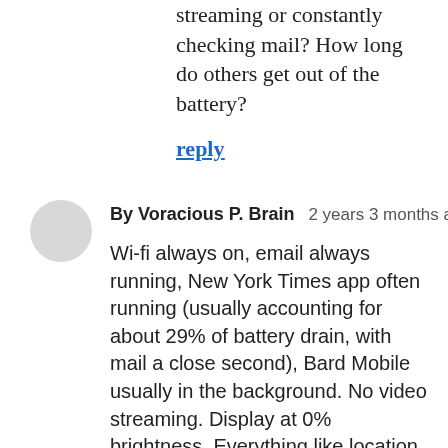streaming or constantly checking mail? How long do others get out of the battery?
reply
By Voracious P. Brain   2 years 3 months ago
Wi-fi always on, email always running, New York Times app often running (usually accounting for about 29% of battery drain, with mail a close second), Bard Mobile usually in the background. No video streaming. Display at 0% brightness. Everything like location services doing what it defaults to. Not using GPS. With all that in the background, battery level drops about 3% per hour with no usage to 5 minutes active use adjusting battery settings. B...